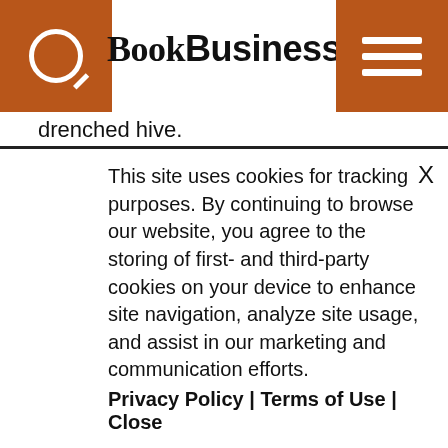BookBusiness
drenched hive.
The reason, some say, is due in part to advanced home technology, making the idea of becoming a published writer more accessible to the masses—specifically with the advent of print-on-demand, blogging, e-zines and other venues that allow sometimes even the not-so-literate to become self-described authors.
This site uses cookies for tracking purposes. By continuing to browse our website, you agree to the storing of first- and third-party cookies on your device to enhance site navigation, analyze site usage, and assist in our marketing and communication efforts. Privacy Policy | Terms of Use | Close